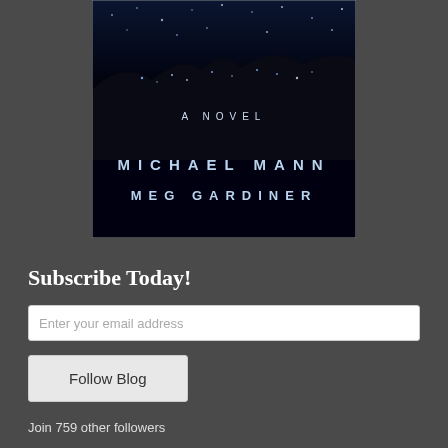[Figure (illustration): Book cover with dark night sky background, text reading 'A NOVEL', 'MICHAEL MANN', 'MEG GARDINER' in spaced white/blue letters on black background]
Subscribe Today!
Enter your email address
Follow Blog
Join 759 other followers